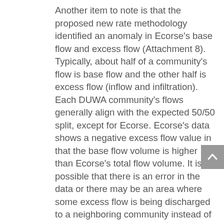Another item to note is that the proposed new rate methodology identified an anomaly in Ecorse's base flow and excess flow (Attachment 8). Typically, about half of a community's flow is base flow and the other half is excess flow (inflow and infiltration). Each DUWA community's flows generally align with the expected 50/50 split, except for Ecorse. Ecorse's data shows a negative excess flow value in that the base flow volume is higher than Ecorse's total flow volume. It is possible that there is an error in the data or there may be an area where some excess flow is being discharged to a neighboring community instead of to the flow meter. River Rouge has significant excess flow so there may be a flow exchange occurring between these two communities. Further investigation will be